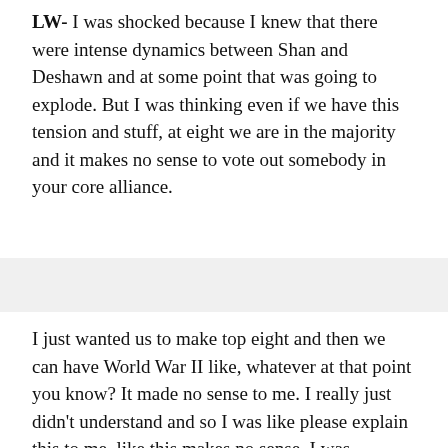LW- I was shocked because I knew that there were intense dynamics between Shan and Deshawn and at some point that was going to explode. But I was thinking even if we have this tension and stuff, at eight we are in the majority and it makes no sense to vote out somebody in your core alliance.
I just wanted us to make top eight and then we can have World War II like, whatever at that point you know? It made no sense to me. I really just didn't understand and so I was like please explain this to me, like this makes no sense. I was shocked.
It was anger at first too because I just solidified in my